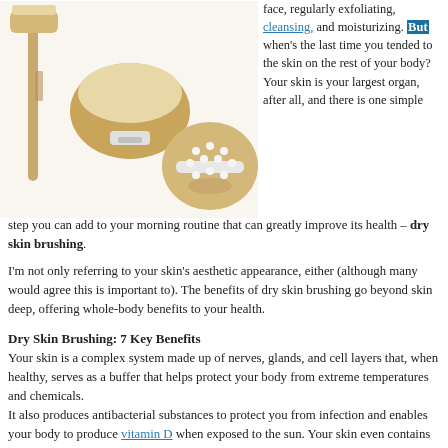[Figure (photo): Three dry skin brushes on a white background: a long-handled brush, a round brush, and a round massage/exfoliation tool.]
face, regularly exfoliating, cleansing, and moisturizing. But when's the last time you tended to the skin on the rest of your body?
Your skin is your largest organ, after all, and there is one simple step you can add to your morning routine that can greatly improve its health – dry skin brushing.
I'm not only referring to your skin's aesthetic appearance, either (although many would agree this is important to). The benefits of dry skin brushing go beyond skin deep, offering whole-body benefits to your health.
Dry Skin Brushing: 7 Key Benefits
Your skin is a complex system made up of nerves, glands, and cell layers that, when healthy, serves as a buffer that helps protect your body from extreme temperatures and chemicals.
It also produces antibacterial substances to protect you from infection and enables your body to produce vitamin D when exposed to the sun. Your skin even contains densely packed nerve cells that act as messengers to your brain, making your skin a crucial part of your interactions with the world around you.
Another crucial role your skin plays is supporting optimal detoxification. But if your skin is overrun with toxins or dead skin cells, it will not be able to eliminate wastes from your body efficiently.
This is where dry skin brushing can be invaluable, not only in brushing off